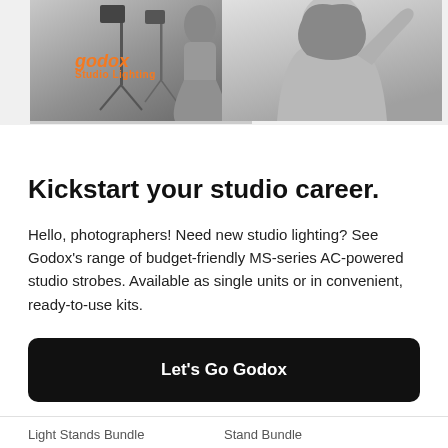[Figure (photo): Godox Studio Lighting promotional image showing studio lighting equipment and a black-and-white photo of a woman, with the Godox Studio Lighting logo in orange on the left side.]
Kickstart your studio career.
Hello, photographers! Need new studio lighting? See Godox's range of budget-friendly MS-series AC-powered studio strobes. Available as single units or in convenient, ready-to-use kits.
Let's Go Godox
Light Stands Bundle	Stand Bundle